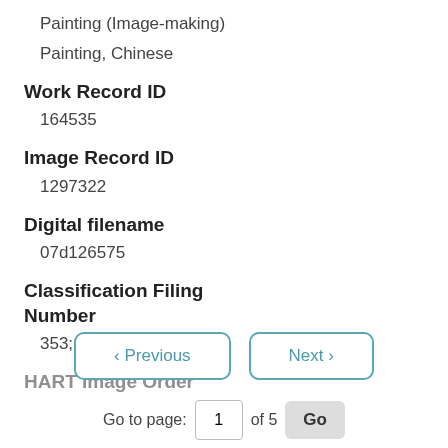Painting (Image-making)
Painting, Chinese
Work Record ID
164535
Image Record ID
1297322
Digital filename
07d126575
Classification Filing Number
353;12;9BBC 2b;A
HART Image Order
< Previous   Next >   Go to page: 1 of 5  Go